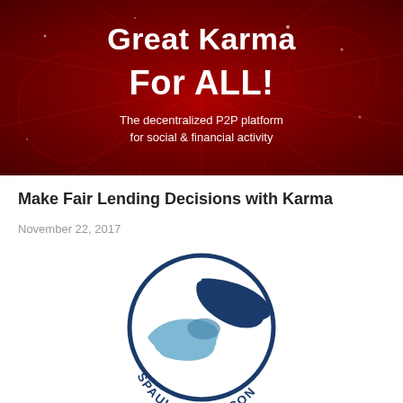[Figure (illustration): Dark red banner with decorative background patterns. Large white bold text reads 'Great Karma For ALL!' with subtitle 'The decentralized P2P platform for social & financial activity']
Make Fair Lending Decisions with Karma
November 22, 2017
[Figure (logo): Spaulding Decon logo: circular blue border with two hands (dark navy and light blue) holding/releasing a bird or dove shape, text 'SPAULDING DECON' along the bottom arc]